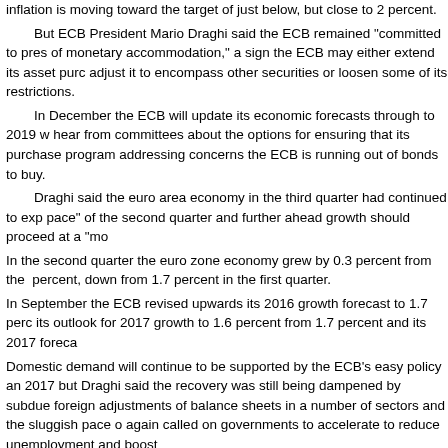inflation is moving toward the target of just below, but close to 2 percent.
    But ECB President Mario Draghi said the ECB remained "committed to preserving the very substantial degree of monetary accommodation," a sign the ECB may either extend its asset purchase program beyond March or adjust it to encompass other securities or loosen some of its restrictions.
    In December the ECB will update its economic forecasts through to 2019 when it will also hear from committees about the options for ensuring that its purchase program can continue while addressing concerns the ECB is running out of bonds to buy.
    Draghi said the euro area economy in the third quarter had continued to expand at the same pace" of the second quarter and further ahead growth should proceed at a "moderate but steady" pace.
    In the second quarter the euro zone economy grew by 0.3 percent from the first quarter, or 1.6 percent, down from 1.7 percent in the first quarter.
    In September the ECB revised upwards its 2016 growth forecast to 1.7 percent but cut its outlook for 2017 growth to 1.6 percent from 1.7 percent and its 2017 forecast for inflation.
    Domestic demand will continue to be supported by the ECB's easy policy and will strengthen in 2017 but Draghi said the recovery was still being dampened by subdue foreign demand, necessary adjustments of balance sheets in a number of sectors and the sluggish pace of reforms. Draghi again called on governments to accelerate to reduce unemployment and boost growth.
    "Structural reforms are necessary in all euro area countries," said Draghi.
    Inflation in the euro area rose to 0.4 percent in September from 0.2 percent in August.
    In its latest forecast, the ECB expects inflation to average 0.2 percent this year, 1.2 percent in 2017 and 1.6 percent in 2018.

    The European Central Bank issued the following statement and ECB President Draghi introduced the statement to a press conference: